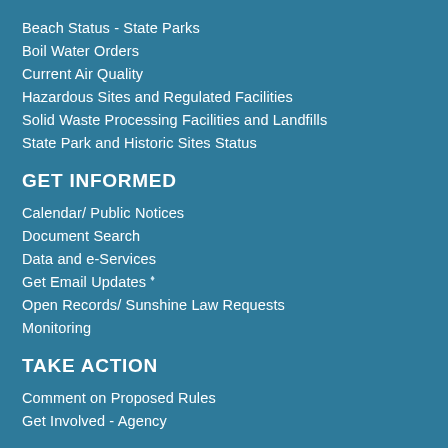Beach Status - State Parks
Boil Water Orders
Current Air Quality
Hazardous Sites and Regulated Facilities
Solid Waste Processing Facilities and Landfills
State Park and Historic Sites Status
GET INFORMED
Calendar/ Public Notices
Document Search
Data and e-Services
Get Email Updates
Open Records/ Sunshine Law Requests
Monitoring
TAKE ACTION
Comment on Proposed Rules
Get Involved - Agency